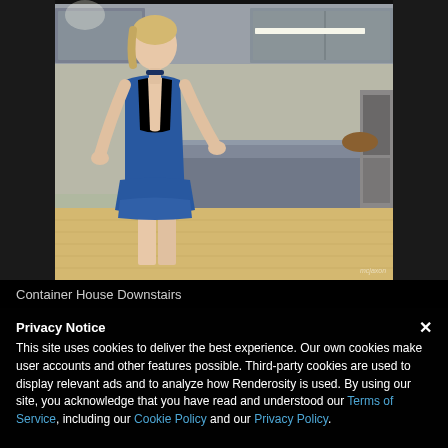[Figure (illustration): 3D rendered illustration of a woman in a blue halter dress standing in a modern kitchen with bar stools and countertop. Watermark text visible in lower right.]
Container House Downstairs
Privacy Notice
This site uses cookies to deliver the best experience. Our own cookies make user accounts and other features possible. Third-party cookies are used to display relevant ads and to analyze how Renderosity is used. By using our site, you acknowledge that you have read and understood our Terms of Service, including our Cookie Policy and our Privacy Policy.